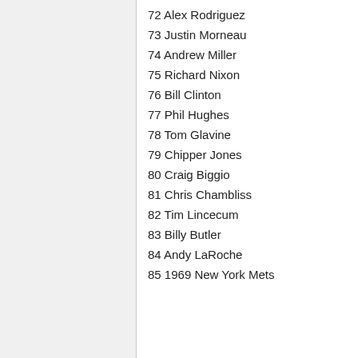72 Alex Rodriguez
73 Justin Morneau
74 Andrew Miller
75 Richard Nixon
76 Bill Clinton
77 Phil Hughes
78 Tom Glavine
79 Chipper Jones
80 Craig Biggio
81 Chris Chambliss
82 Tim Lincecum
83 Billy Butler
84 Andy LaRoche
85 1969 New York Mets